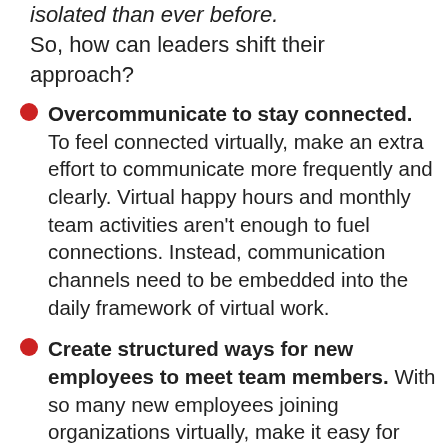isolated than ever before.
So, how can leaders shift their approach?
Overcommunicate to stay connected. To feel connected virtually, make an extra effort to communicate more frequently and clearly. Virtual happy hours and monthly team activities aren't enough to fuel connections. Instead, communication channels need to be embedded into the daily framework of virtual work.
Create structured ways for new employees to meet team members. With so many new employees joining organizations virtually, make it easy for them to meet and get to know